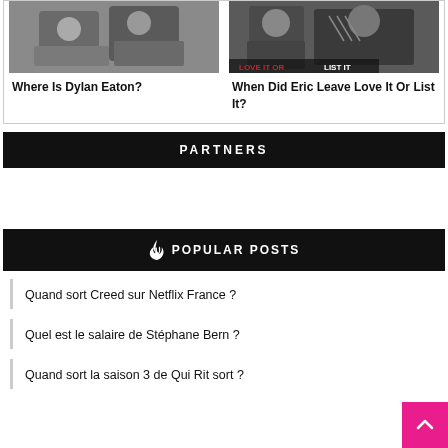[Figure (photo): Photo of people sitting together, left card]
Where Is Dylan Eaton?
[Figure (photo): Photo of man in suit with woman, right card]
When Did Eric Leave Love It Or List It?
PARTNERS
🔥 POPULAR POSTS
Quand sort Creed sur Netflix France ?
Quel est le salaire de Stéphane Bern ?
Quand sort la saison 3 de Qui Rit sort ?